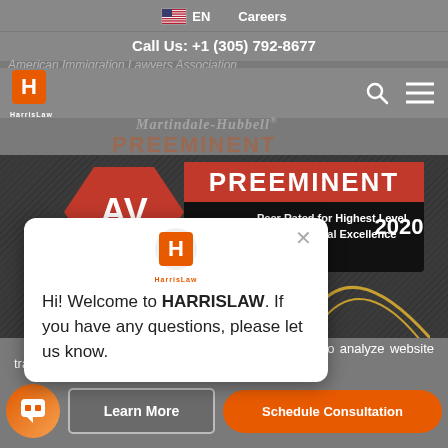EN   Careers
Call Us: +1 (305) 792-8677
American Immigration Lawyers Association
[Figure (logo): HarrisLaw orange H logo with Harris Law text]
[Figure (infographic): Martindale-Hubbell AV Preeminent 2020 badge - Peer Rated for Highest Level of Professional Excellence]
Hi! Welcome to HARRISLAW. If you have any questions, please let us know.
r use of cookies to analyze website traffic and improve your experience on our website.
Learn More
Schedule Consultation